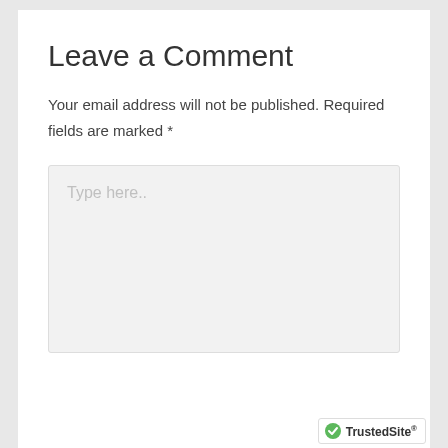Leave a Comment
Your email address will not be published. Required fields are marked *
[Figure (screenshot): A comment text area input box with placeholder text 'Type here..' on a light grey background]
[Figure (logo): TrustedSite badge with green checkmark in bottom right corner]